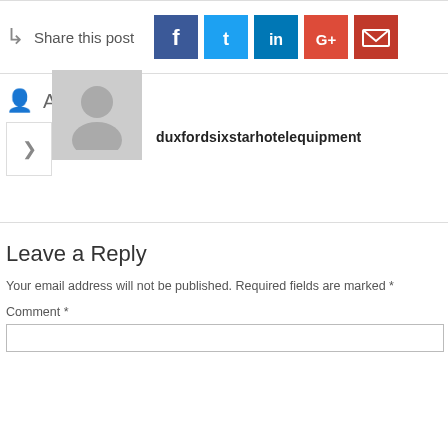Share this post
[Figure (infographic): Social share buttons: Facebook (f), Twitter (bird), LinkedIn (in), Google+ (G+), Email (envelope)]
Author
duxfordsixstarhotelequipment
Leave a Reply
Your email address will not be published. Required fields are marked *
Comment *